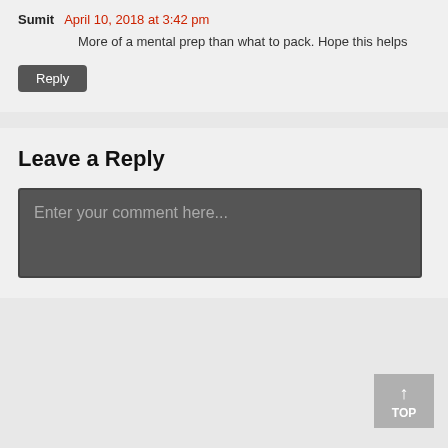Sumit  April 10, 2018 at 3:42 pm
More of a mental prep than what to pack. Hope this helps
Reply
Leave a Reply
Enter your comment here...